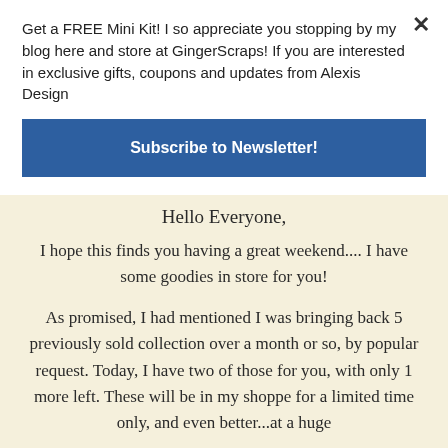Get a FREE Mini Kit! I so appreciate you stopping by my blog here and store at GingerScraps! If you are interested in exclusive gifts, coupons and updates from Alexis Design
Subscribe to Newsletter!
Hello Everyone,
I hope this finds you having a great weekend.... I have some goodies in store for you!
As promised, I had mentioned I was bringing back 5 previously sold collection over a month or so, by popular request. Today, I have two of those for you, with only 1 more left. These will be in my shoppe for a limited time only, and even better...at a huge